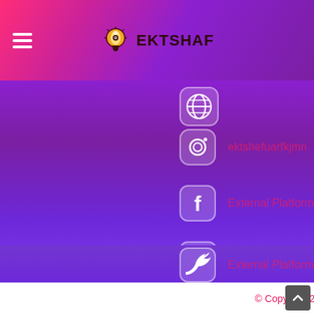EKTSHAF
[Figure (screenshot): Mobile app screenshot showing social media links list on purple gradient background with Instagram, Facebook, YouTube, and Twitter icons]
© Copyright 2022 ABOUT EKTSHAF